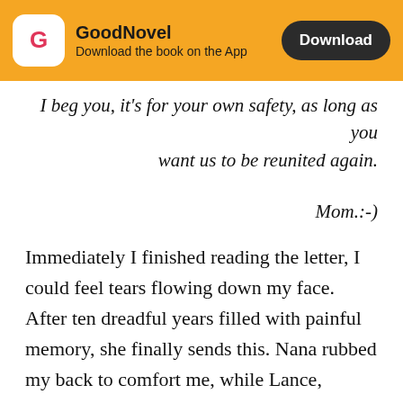GoodNovel – Download the book on the App
I beg you, it's for your own safety, as long as you want us to be reunited again.
Mom.:-)
Immediately I finished reading the letter, I could feel tears flowing down my face. After ten dreadful years filled with painful memory, she finally sends this. Nana rubbed my back to comfort me, while Lance, brought out the audiomack so we could listen to it. As he pressed play, her eery voice covered the space between all of us,